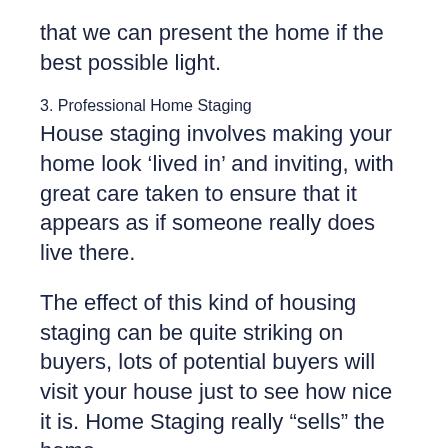that we can present the home if the best possible light.
3. Professional Home Staging
House staging involves making your home look ‘lived in’ and inviting, with great care taken to ensure that it appears as if someone really does live there.
The effect of this kind of housing staging can be quite striking on buyers, lots of potential buyers will visit your house just to see how nice it is. Home Staging really “sells” the home.
4. General Home Maintenance
Keep your property in good shape for people by maintaining it regularly and